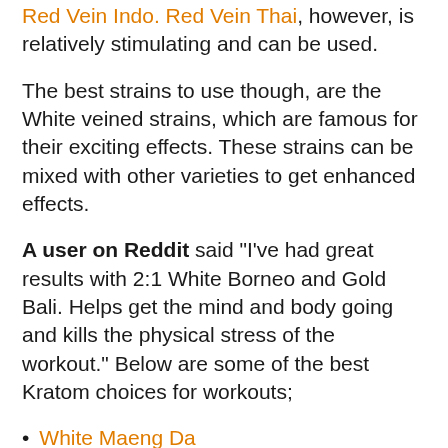Red Vein Indo. Red Vein Thai, however, is relatively stimulating and can be used.
The best strains to use though, are the White veined strains, which are famous for their exciting effects. These strains can be mixed with other varieties to get enhanced effects.
A user on Reddit said “I’ve had great results with 2:1 White Borneo and Gold Bali. Helps get the mind and body going and kills the physical stress of the workout.” Below are some of the best Kratom choices for workouts;
White Maeng Da